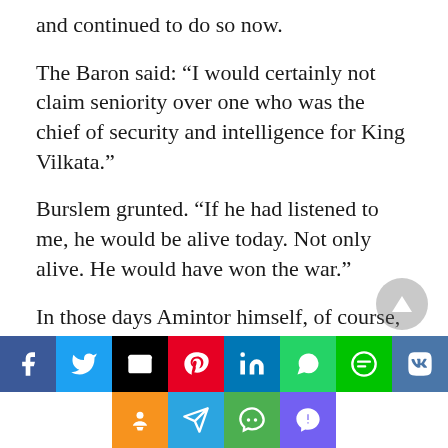and continued to do so now.
The Baron said: “I would certainly not claim seniority over one who was the chief of security and intelligence for King Vilkata.”
Burslem grunted. “If he had listened to me, he would be alive today. Not only alive. He would have won the war.”
In those days Amintor himself, of course, had been at the right hand of the Silver Queen. But he made no claim now to having given advice that, if taken, would have altered the outcome of the war.
[Figure (other): Social media sharing buttons row 1: Facebook, Twitter, Email, Pinterest, LinkedIn, WhatsApp, LINE, VK; row 2: Odnoklassniki, Telegram, WeChat, Viber]